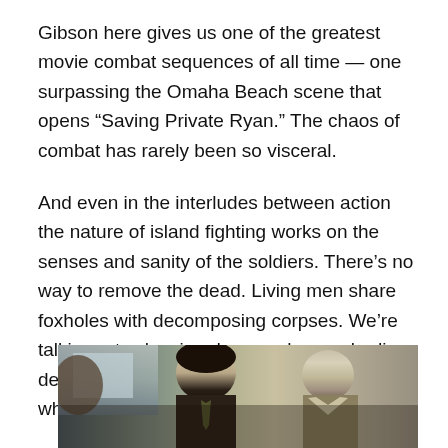Gibson here gives us one of the greatest movie combat sequences of all time — one surpassing the Omaha Beach scene that opens “Saving Private Ryan.” The chaos of combat has rarely been so visceral.
And even in the interludes between action the nature of island fighting works on the senses and sanity of the soldiers. There’s no way to remove the dead. Living men share foxholes with decomposing corpses. We’re talking rats chowing down on human bodies, dead Japanese with squirming maggots where their eyes used to be.
[Figure (photo): A still from a movie or TV show showing two men in what appears to be a military or period setting. The man in the foreground has dark hair and a serious expression; another man stands behind him wearing a light-colored shirt. The background suggests an interior room.]